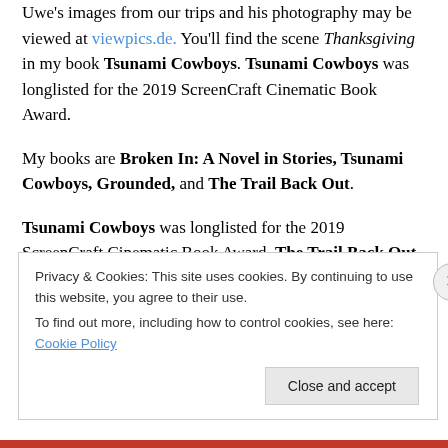Uwe's images from our trips and his photography may be viewed at viewpics.de. You'll find the scene Thanksgiving in my book Tsunami Cowboys. Tsunami Cowboys was longlisted for the 2019 ScreenCraft Cinematic Book Award.
My books are Broken In: A Novel in Stories, Tsunami Cowboys, Grounded, and The Trail Back Out.
Tsunami Cowboys was longlisted for the 2019 ScreenCraft Cinematic Book Award. The Trail Back Out
Privacy & Cookies: This site uses cookies. By continuing to use this website, you agree to their use.
To find out more, including how to control cookies, see here: Cookie Policy